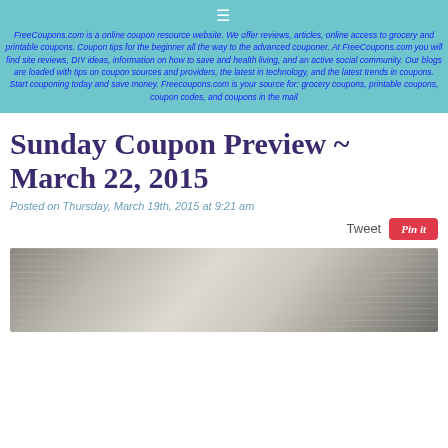≡
FreeCoupons.com is a online coupon resource website. We offer reviews, articles, online access to grocery and printable coupons. Coupon tips for the beginner all the way to the advanced couponer. At FreeCoupons.com you will find site reviews, DIY ideas, information on how to save and health living, and an active social community. Our blogs are loaded with tips on coupon sources and providers, the latest in technology, and the latest trends in coupons. Start couponing today and save money. Freecoupons.com is your source for: grocery coupons, printable coupons, coupon codes, and coupons in the mail
Sunday Coupon Preview ~ March 22, 2015
Posted on Thursday, March 19th, 2015 at 9:21 am
[Figure (photo): Close-up photo of newspaper coupon inserts, slightly blurred, showing printed text on newsprint paper]